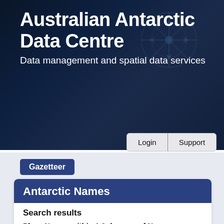Australian Antarctic Data Centre
Data management and spatial data services
[Figure (screenshot): Navigation bar with Menu button, Quick search input, Search button, Login and Support buttons]
Gazetteer
Antarctic Names
Search results
Place Names within 1.0 degrees of Neumayer, cabo (Latitude 63° 42.0' S Longitude 60° 33.0'